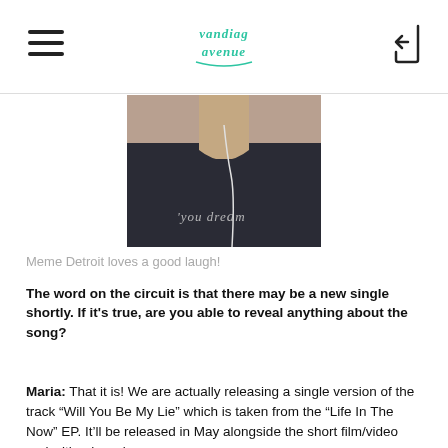Vandiag Avenue (logo)
[Figure (photo): Photo of a person wearing a dark tank top with text 'you dream' and white earphones, cropped from shoulders to waist]
Meme Detroit loves a good laugh!
The word on the circuit is that there may be a new single shortly. If it's true, are you able to reveal anything about the song?
Maria: That it is! We are actually releasing a single version of the track “Will You Be My Lie” which is taken from the “Life In The Now” EP. It’ll be released in May alongside the short film/video and with a brand new